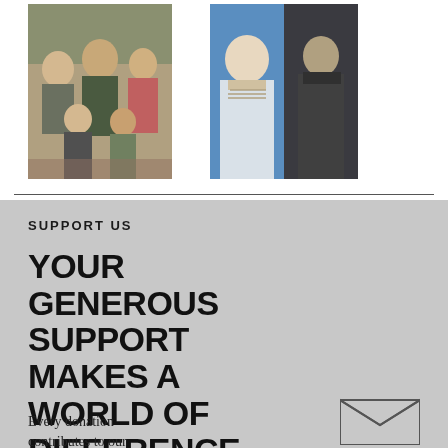[Figure (photo): Group photo of several people seated and standing together outdoors or in a light indoor setting]
[Figure (photo): Two people side by side — one in a white fringed wrap against a blue background, one in dark clothing in a vintage-style black and white image]
SUPPORT US
YOUR GENEROUS SUPPORT MAKES A WORLD OF DIFFERENCE.
Every donation contributes to our